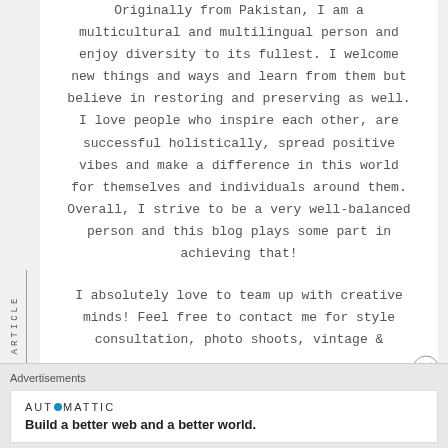Originally from Pakistan, I am a multicultural and multilingual person and enjoy diversity to its fullest. I welcome new things and ways and learn from them but believe in restoring and preserving as well. I love people who inspire each other, are successful holistically, spread positive vibes and make a difference in this world for themselves and individuals around them. Overall, I strive to be a very well-balanced person and this blog plays some part in achieving that!
I absolutely love to team up with creative minds! Feel free to contact me for style consultation, photo shoots, vintage &
Advertisements
[Figure (other): Automattic advertisement banner: logo reading AUTOMATTIC with a blue circle replacing the O, tagline: Build a better web and a better world.]